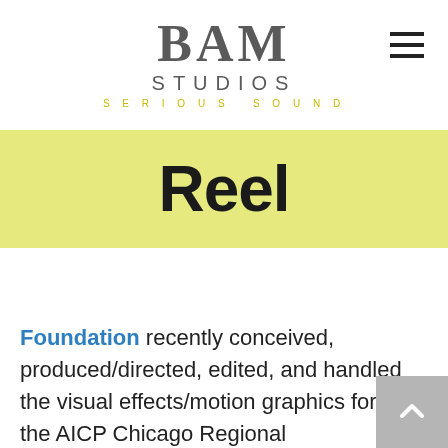BAM STUDIOS SERIOUS SOUND
Reel
Foundation recently conceived, produced/directed, edited, and handled the visual effects/motion graphics for the AICP Chicago Regional Sponsorship Reel (http://foundationcontent.com/aicp). The reel